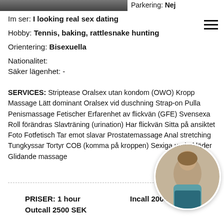Parkering: Nej
Im ser: I looking real sex dating
Hobby: Tennis, baking, rattlesnake hunting
Orientering: Bisexuella
Nationalitet:
Säker lägenhet: -
SERVICES: Striptease Oralsex utan kondom (OWO) Kropp Massage Lätt dominant Oralsex vid duschning Strap-on Pulla Penismassage Fetischer Erfarenhet av flickvän (GFE) Svensexa Roll förändras Slavträning (urination) Har flickvän Sitta på ansiktet Foto Fotfetisch Tar emot slavar Prostatemassage Anal stretching Tungkyssar Tortyr COB (komma på kroppen) Sexiga underkläder Glidande massage
PRISER: 1 hour   Incall 2000 SEK
Outcall 2500 SEK
[Figure (photo): Circular thumbnail photo of a woman in teal top and denim shorts, viewed from behind]